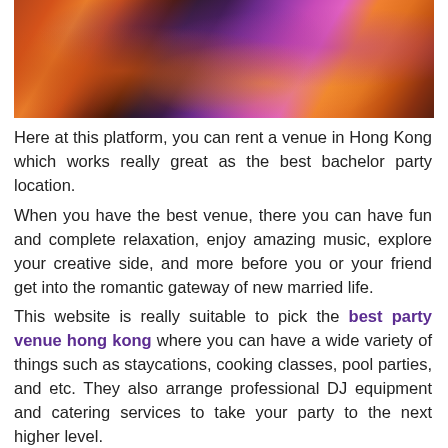[Figure (photo): Colorful photo of people in festive/traditional attire with bright colors including orange, pink, purple, and gold tones, appearing to be at a party or cultural celebration.]
Here at this platform, you can rent a venue in Hong Kong which works really great as the best bachelor party location.
When you have the best venue, there you can have fun and complete relaxation, enjoy amazing music, explore your creative side, and more before you or your friend get into the romantic gateway of new married life.
This website is really suitable to pick the best party venue hong kong where you can have a wide variety of things such as staycations, cooking classes, pool parties, and etc. They also arrange professional DJ equipment and catering services to take your party to the next higher level.